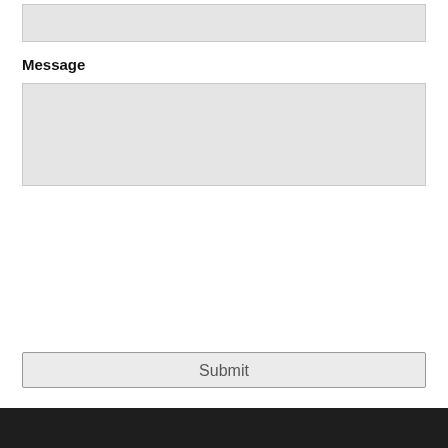[Figure (other): Text input field (gray background, rectangular)]
Message
[Figure (other): Textarea input field (gray background, larger rectangular box)]
[Figure (other): Submit button]